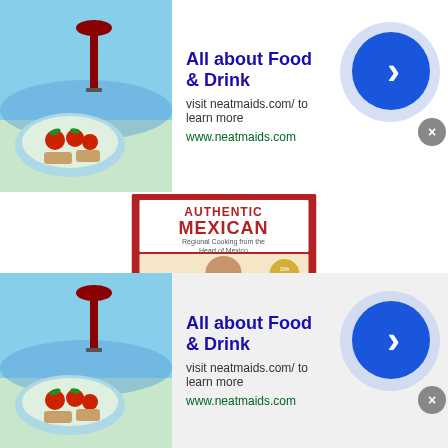[Figure (screenshot): Advertisement banner at top: food photo on left, 'All about Food & Drink' title, arrow button on right]
All about Food & Drink
visit neatmaids.com/ to learn more
www.neatmaids.com
[Figure (photo): Book cover of 'Authentic Mexican: Regional Cooking from the Heart of Mexico' with red cover and illustration of a woman]
Authentic Mexican: Regional Cooking from the Heart of Mexico
[Figure (logo): Amazon Prime checkmark logo with 'Prime' text]
[Figure (screenshot): Bottom advertisement banner: food photo on left, 'All about Food & Drink' title, arrow button on right]
All about Food & Drink
visit neatmaids.com/ to learn more
www.neatmaids.com